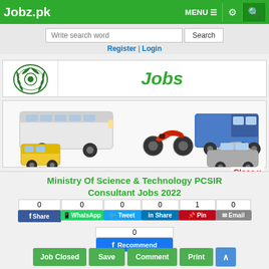Jobz.pk | MENU | settings | search
Write search word | Search
Register | Login
[Figure (logo): Government emblem logo with text Jobs in green]
[Figure (photo): Banner with vehicles: bus, motorcycle, truck, auto-rickshaw, car]
Close x
Ministry Of Science & Technology PCSIR Consultant Jobs 2022
0 Share | 0 WhatsApp | 0 Tweet | 0 Share | 1 Pin | 0 Email | 0 Recommend
Job Closed | Save | Comment | Print | ^